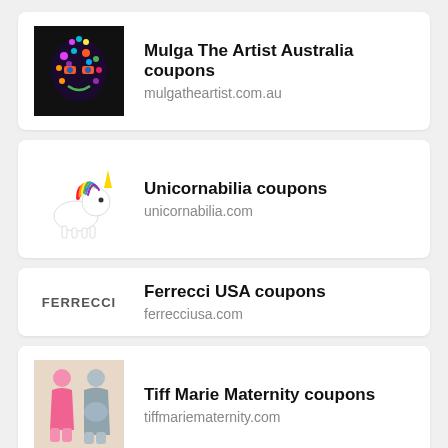[Figure (logo): Mulga The Artist colorful face illustration on black background]
Mulga The Artist Australia coupons
mulgatheartist.com.au
[Figure (illustration): Unicorn illustration with rainbow mane]
Unicornabilia coupons
unicornabilia.com
[Figure (logo): FERRECCI text logo in grey]
Ferrecci USA coupons
ferrecciusa.com
[Figure (photo): Two women in maternity clothing]
Tiff Marie Maternity coupons
tiffmariematernity.com
[Figure (screenshot): Ad banner with Hold and Move text and blue figures on tan background]